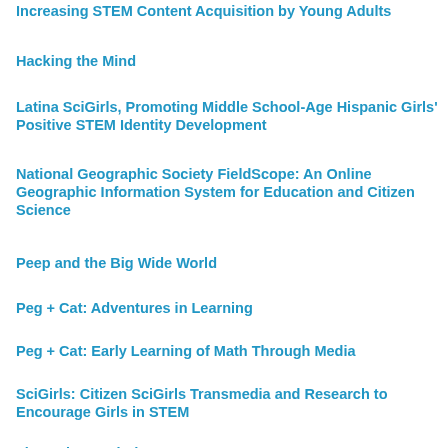Increasing STEM Content Acquisition by Young Adults
Hacking the Mind
Latina SciGirls, Promoting Middle School-Age Hispanic Girls' Positive STEM Identity Development
National Geographic Society FieldScope: An Online Geographic Information System for Education and Citizen Science
Peep and the Big Wide World
Peg + Cat: Adventures in Learning
Peg + Cat: Early Learning of Math Through Media
SciGirls: Citizen SciGirls Transmedia and Research to Encourage Girls in STEM
Through My Window